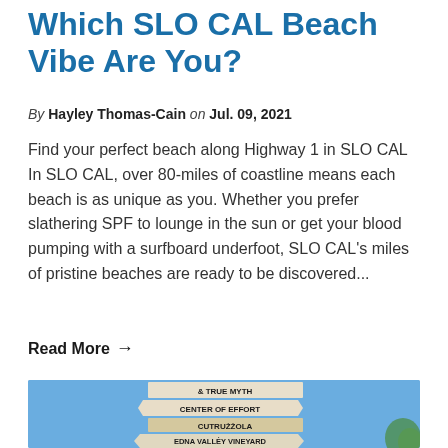Which SLO CAL Beach Vibe Are You?
By Hayley Thomas-Cain on Jul. 09, 2021
Find your perfect beach along Highway 1 in SLO CAL In SLO CAL, over 80-miles of coastline means each beach is as unique as you. Whether you prefer slathering SPF to lounge in the sun or get your blood pumping with a surfboard underfoot, SLO CAL's miles of pristine beaches are ready to be discovered...
Read More →
[Figure (photo): A wooden signpost against a blue sky showing winery/vineyard signs: & TRUE MYTH, CENTER OF EFFORT, CUTRUZZOLA, EDNA VALLEY VINEYARD, KYNSI WINERY, with a tree visible at the right edge.]